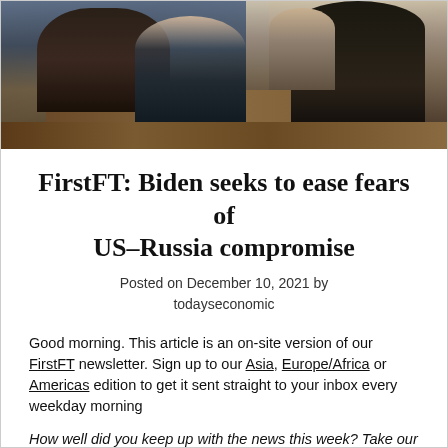[Figure (photo): Photo of a person seated at a desk in what appears to be the Oval Office, on a phone call, with another figure visible in the foreground]
FirstFT: Biden seeks to ease fears of US–Russia compromise
Posted on December 10, 2021 by todayseconomic
Good morning. This article is an on-site version of our FirstFT newsletter. Sign up to our Asia, Europe/Africa or Americas edition to get it sent straight to your inbox every weekday morning
How well did you keep up with the news this week? Take our quiz.